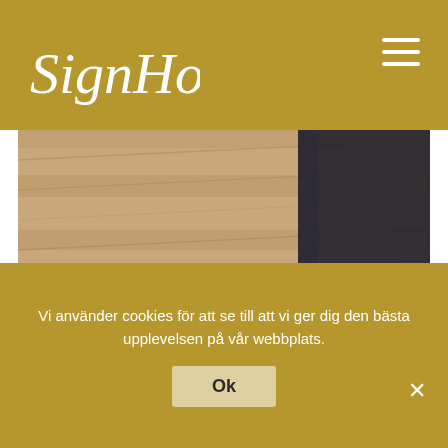[Figure (logo): SignHome cursive script logo in white on gold/olive background]
[Figure (photo): Wooden laminate floor with dark cabinet/panel visible in upper right corner]
[Figure (photo): Grey floor with dark blue/navy cabinet base visible at left edge]
Vi använder cookies för att se till att vi ger dig den bästa upplevelsen på vår webbplats.
Ok